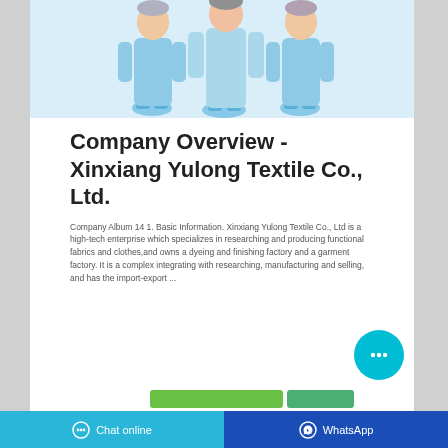[Figure (photo): Three people wearing blue full-body coveralls/protective suits with blue shoe covers, standing against a white background.]
Company Overview - Xinxiang Yulong Textile Co., Ltd.
Company Album 14 1. Basic Information. Xinxiang Yulong Textile Co., Ltd is a high-tech enterprise which specializes in researching and producing functional fabrics and clothes,and owns a dyeing and finishing factory and a garment factory. It is a complex integrating with researching, manufacturing and selling, and has the import-export ...
[Figure (other): Cyan circular chat bubble button with ellipsis icon]
Chat online   WhatsApp